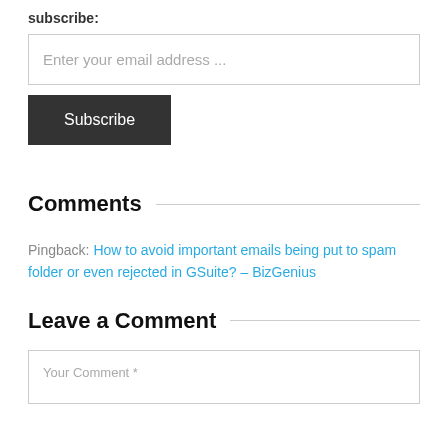subscribe:
Enter your email address ...
Subscribe
Comments
Pingback: How to avoid important emails being put to spam folder or even rejected in GSuite? – BizGenius
Leave a Comment
Your Comment *